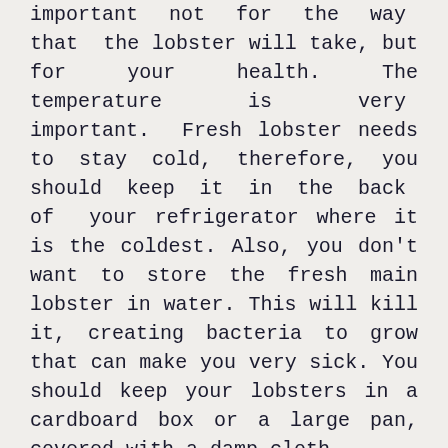The way that you store lobster also is important not for the way that the lobster will take, but for your health. The temperature is very important. Fresh lobster needs to stay cold, therefore, you should keep it in the back of your refrigerator where it is the coldest. Also, you don't want to store the fresh main lobster in water. This will kill it, creating bacteria to grow that can make you very sick. You should keep your lobsters in a cardboard box or a large pan, covered with a damp cloth.
LOBSTER SERVING SIZE
If you want to have a hearty meal that